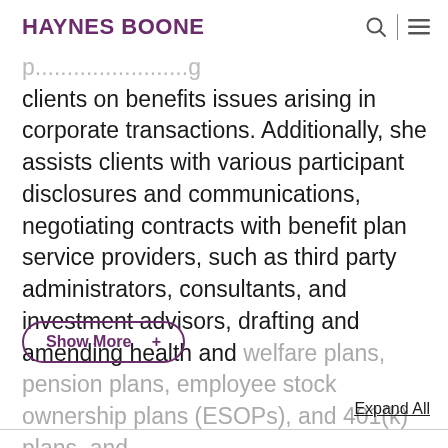HAYNES BOONE
p... clients on benefits issues arising in corporate transactions. Additionally, she assists clients with various participant disclosures and communications, negotiating contracts with benefit plan service providers, such as third party administrators, consultants, and investment advisors, drafting and amending health and welfare plans, pension plans, employee stock ownership plans (ESOPs), and 401(k) plans, and
Show More +
Expand All